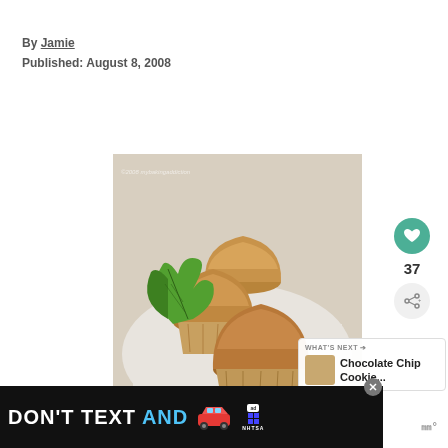By Jamie
Published: August 8, 2008
[Figure (photo): Three golden-brown muffins on a white plate garnished with fresh mint leaves. Watermark reads '©2008 mybakingaddiction'.]
[Figure (infographic): Heart/like button (teal circle with white heart icon), like count 37, and share button below]
WHAT'S NEXT → Chocolate Chip Cookie...
[Figure (infographic): Advertisement banner: DON'T TEXT AND [car emoji] with NHTSA ad badge and close button]